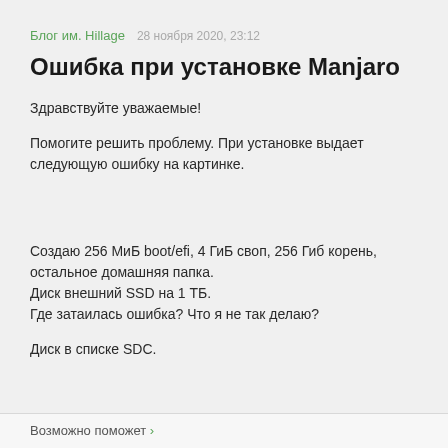Блог им. Hillage   28 ноября 2020, 23:12
Ошибка при установке Manjaro
Здравствуйте уважаемые!
Помогите решить проблему. При установке выдает следующую ошибку на картинке.
[Figure (other): Screenshot of Manjaro installation error (image area, blank/missing in source)]
Создаю 256 МиБ boot/efi, 4 ГиБ своп, 256 Гиб корень, остальное домашняя папка.
Диск внешний SSD на 1 ТБ.
Где затаилась ошибка? Что я не так делаю?
Диск в списке SDC.
Возможно поможет